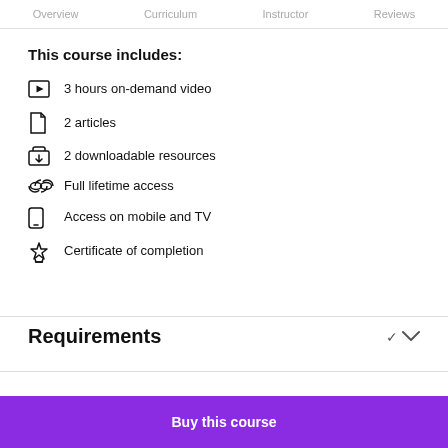Overview   Curriculum   Instructor   Reviews
This course includes:
3 hours on-demand video
2 articles
2 downloadable resources
Full lifetime access
Access on mobile and TV
Certificate of completion
Requirements
Buy this course